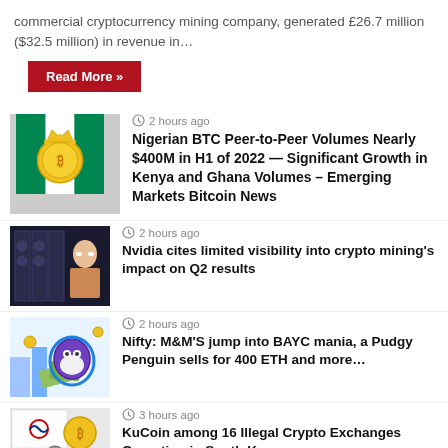commercial cryptocurrency mining company, generated £26.7 million ($32.5 million) in revenue in…
Read More »
[Figure (illustration): Bitcoin coin with a crown and Nigerian flag motif]
2 hours ago
Nigerian BTC Peer-to-Peer Volumes Nearly $400M in H1 of 2022 — Significant Growth in Kenya and Ghana Volumes – Emerging Markets Bitcoin News
[Figure (photo): Nvidia GPU mining rig with a person in background]
2 hours ago
Nvidia cites limited visibility into crypto mining's impact on Q2 results
[Figure (illustration): NFT mania illustration with M&M character and money]
2 hours ago
Nifty: M&M'S jump into BAYC mania, a Pudgy Penguin sells for 400 ETH and more…
[Figure (photo): South Korean flag and cryptocurrency coins]
3 hours ago
KuCoin among 16 Illegal Crypto Exchanges Operating in South Korea